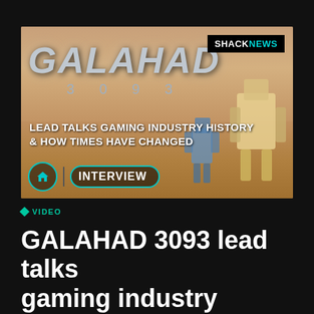[Figure (screenshot): Thumbnail image for Galahad 3093 interview video. Shows game logo 'GALAHAD 3093' in metallic letters over a desert landscape with mech robots. ShackNews badge in top right. Text overlay: 'LEAD TALKS GAMING INDUSTRY HISTORY & HOW TIMES HAVE CHANGED'. Interview tag at bottom left with circular home icon and teal-bordered 'INTERVIEW' label.]
VIDEO
GALAHAD 3093 lead talks gaming industry history &